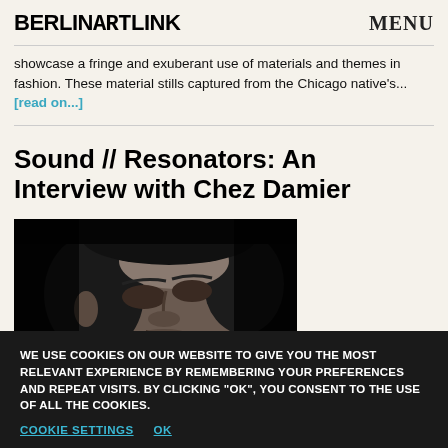BERLINARTLINK  MENU
showcase a fringe and exuberant use of materials and themes in fashion. These material stills captured from the Chicago native's... [read on...]
Sound // Resonators: An Interview with Chez Damier
[Figure (photo): Black and white close-up portrait photograph of a person with eyes closed or downcast, dark background]
WE USE COOKIES ON OUR WEBSITE TO GIVE YOU THE MOST RELEVANT EXPERIENCE BY REMEMBERING YOUR PREFERENCES AND REPEAT VISITS. BY CLICKING "OK", YOU CONSENT TO THE USE OF ALL THE COOKIES.
COOKIE SETTINGS  OK